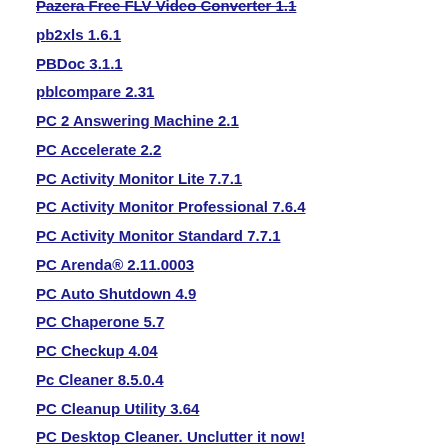Pazera Free FLV Video Converter 1.1
pb2xls 1.6.1
PBDoc 3.1.1
pblcompare 2.31
PC 2 Answering Machine 2.1
PC Accelerate 2.2
PC Activity Monitor Lite 7.7.1
PC Activity Monitor Professional 7.6.4
PC Activity Monitor Standard 7.7.1
PC Arenda® 2.11.0003
PC Auto Shutdown 4.9
PC Chaperone 5.7
PC Checkup 4.04
Pc Cleaner 8.5.0.4
PC Cleanup Utility 3.64
PC Desktop Cleaner. Unclutter it now! 1.0.3
PC Diag Windows Ultra Lite 3.5.3
PC Diary Calendar 2008 1.0
PC Digital Safe - Never forget anything, ever! 2.53